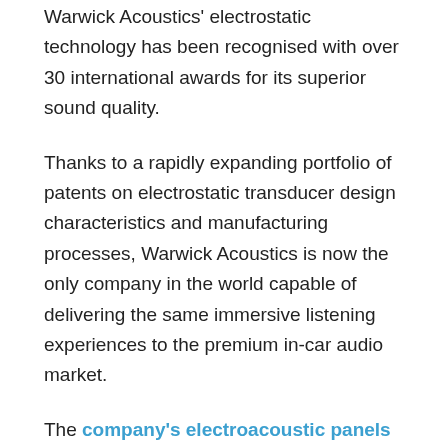Warwick Acoustics' electrostatic technology has been recognised with over 30 international awards for its superior sound quality.
Thanks to a rapidly expanding portfolio of patents on electrostatic transducer design characteristics and manufacturing processes, Warwick Acoustics is now the only company in the world capable of delivering the same immersive listening experiences to the premium in-car audio market.
The company's electroacoustic panels have been designed to provide significant advantages over conventional audio technology for the entire vehicle system. These panels are up to seventy-five percent lighter, use seventy-five percent less power, and give designers and packagers a great deal more flexibility when it comes to interior design and packaging.